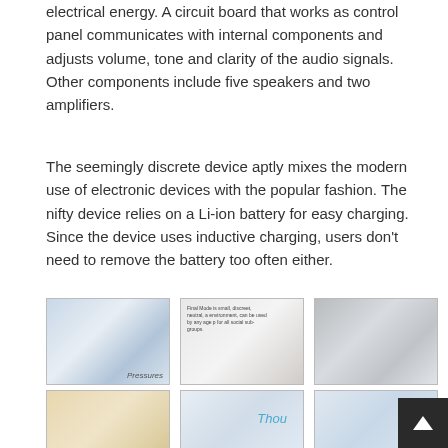electrical energy. A circuit board that works as control panel communicates with internal components and adjusts volume, tone and clarity of the audio signals. Other components include five speakers and two amplifiers.
The seemingly discrete device aptly mixes the modern use of electronic devices with the popular fashion. The nifty device relies on a Li-ion battery for easy charging. Since the device uses inductive charging, users don't need to remove the battery too often either.
[Figure (photo): Photo of small blue hearing-aid-like devices scattered on a white surface, with text 'Pressures' watermark]
[Figure (photo): Annotated photo of a hearing device with text overlay: 'Final Mode is small, discreet, neutral, a environment, can be used by any age p for all social sub-groups.' showing a cylindrical device with a small blue piece]
[Figure (photo): Photo of silver/grey hearing device components on white background]
[Figure (photo): Partially visible photo of a yellow/cream box with product labeling]
[Figure (photo): Partially visible photo with 'Thou' teal text, likely a product concept image]
[Figure (photo): Partially visible diagram or photo of a clear/transparent device]